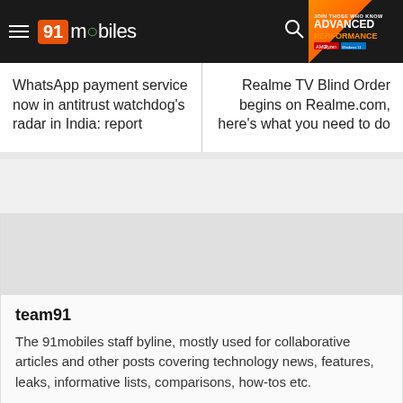91mobiles
WhatsApp payment service now in antitrust watchdog's radar in India: report
Realme TV Blind Order begins on Realme.com, here's what you need to do
team91
The 91mobiles staff byline, mostly used for collaborative articles and other posts covering technology news, features, leaks, informative lists, comparisons, how-tos etc.
Related Articles